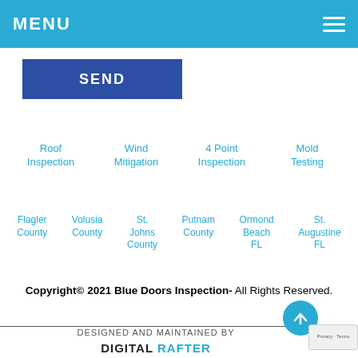MENU
SEND
Roof Inspection
Wind Mitigation
4 Point Inspection
Mold Testing
Flagler County
Volusia County
St. Johns County
Putnam County
Ormond Beach FL
St. Augustine FL
Copyright© 2021 Blue Doors Inspection- All Rights Reserved.
DESIGNED AND MAINTAINED BY DIGITAL RAFTER